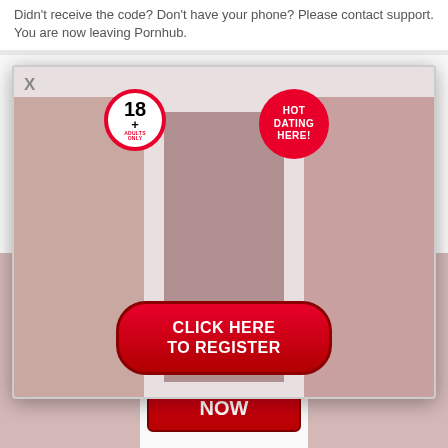Didn't receive the code? Don't have your phone? Please contact support. You are now leaving Pornhub.
[Figure (screenshot): Adult dating advertisement popup overlay showing three women in lingerie, an 18+ badge, a HOT DATING HERE badge, and a red CLICK HERE TO REGISTER button]
[Figure (screenshot): Background adult dating advertisement showing women in bikinis, text 'in your area today and have sex tonight!', a red JOIN NOW button]